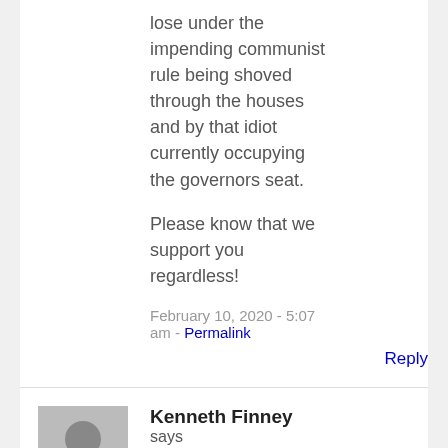lose under the impending communist rule being shoved through the houses and by that idiot currently occupying the governors seat.
Please know that we support you regardless!
February 10, 2020 - 5:07 am - Permalink
Reply
[Figure (illustration): Default grey avatar/profile placeholder image showing a generic person silhouette]
Kenneth Finney says
We need to get Northam out of office NOW! The Democrats